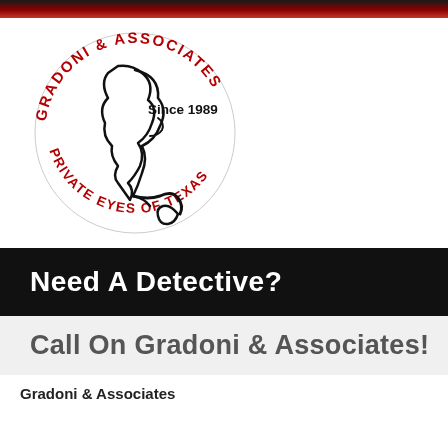[Figure (logo): Gradoni & Associates Private Eyes of Texas circular logo with a silhouette of a detective face and pipe, text reading GRADONI & ASSOCIATES in red on top arc and PRIVATE EYES OF TEXAS in red on bottom arc, with Since 1989 in black inside]
Need A Detective?
Call On Gradoni & Associates!
Gradoni & Associates